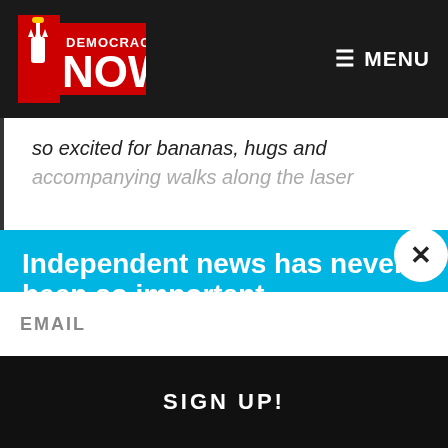[Figure (logo): Democracy Now! logo with Statue of Liberty torch icon in red and white on dark background]
≡ MENU
so excited for bananas, hugs and accompanying walks along the laser
Independent news has never been so important.
Did you know that you can get Democracy Now! delivered to your inbox every day? Sign up for our Daily News Digest today! Don't worry, we'll never share or sell your information.
EMAIL
SIGN UP!